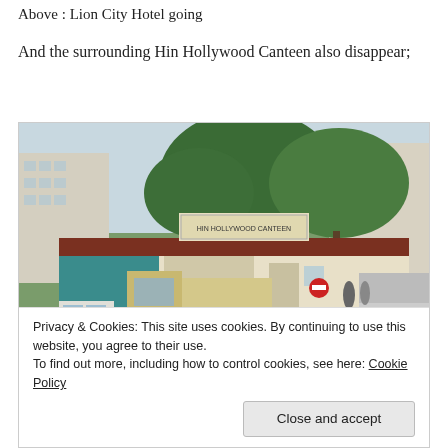Above : Lion City Hotel going
And the surrounding Hin Hollywood Canteen also disappear;
[Figure (photo): Street-level photo of Hin Hollywood Canteen, a low single-storey structure with a reddish corrugated roof, a sign reading 'HIN HOLLYWOOD CANTEEN', surrounded by HDB apartment blocks and large trees, with trucks, a taxi, and a motorcycle parked in the foreground.]
Privacy & Cookies: This site uses cookies. By continuing to use this website, you agree to their use.
To find out more, including how to control cookies, see here: Cookie Policy
Close and accept